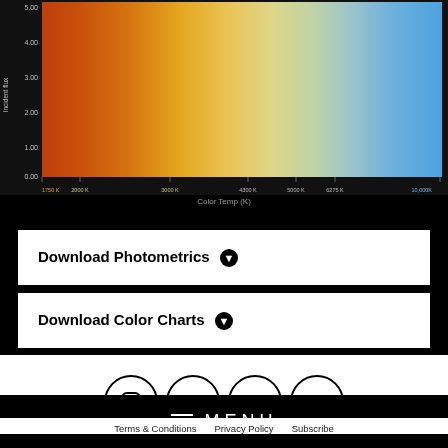[Figure (continuous-plot): Color temperature gradient chart showing incident flux vs Color Temp (K), ranging from warm orange/red at ~1700K to cool blue at ~10000K. Y-axis shows incident flux from 0.00 to 5.00+. X-axis labels: 1750K, 2000K, 3000K, 4300K, 5000K, 6275K, 10,000K.]
Download Photometrics ⬇
Download Color Charts ⬇
[Figure (illustration): Social media icons in circles: Instagram, Facebook, LinkedIn, YouTube]
≡ MENU
Terms & Conditions   Privacy Policy   Subscribe